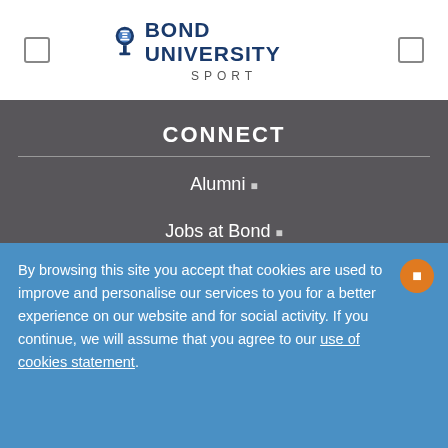BOND UNIVERSITY SPORT
CONNECT
Alumni ▸
Jobs at Bond ▸
Staff directory ▸
Events ▸
News ▸
By browsing this site you accept that cookies are used to improve and personalise our services to you for a better experience on our website and for social activity. If you continue, we will assume that you agree to our use of cookies statement.